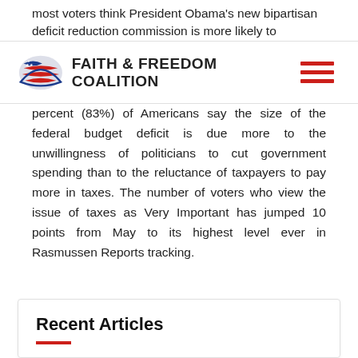most voters think President Obama's new bipartisan deficit reduction commission is more likely to
[Figure (logo): Faith & Freedom Coalition logo with eagle/flag graphic and bold text]
percent (83%) of Americans say the size of the federal budget deficit is due more to the unwillingness of politicians to cut government spending than to the reluctance of taxpayers to pay more in taxes. The number of voters who view the issue of taxes as Very Important has jumped 10 points from May to its highest level ever in Rasmussen Reports tracking.
Recent Articles
August 9, 2022
STATEMENT BY TIMOTHY HEAD, EXECUTIVE DIRECTOR OF THE FAITH & FREEDOM